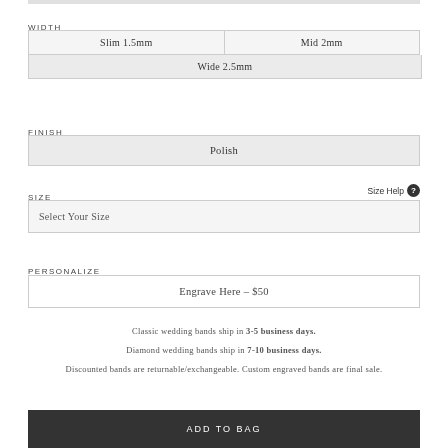WIDTH
| Slim 1.5mm | Mid 2mm |
| Wide 2.5mm |
FINISH
Polish
SIZE
Size Help ?
Select Your Size
PERSONALIZE
Engrave Here – $50
Classic wedding bands ship in 3-5 business days.
Diamond wedding bands ship in 7-10 business days.
Discounted bands are returnable/exchangeable. Custom engraved bands are final sale.
ADD TO BAG